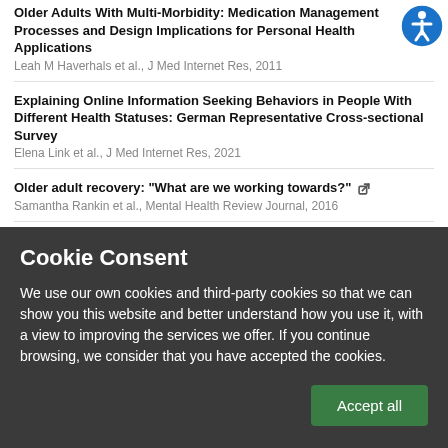Older Adults With Multi-Morbidity: Medication Management Processes and Design Implications for Personal Health Applications
Leah M Haverhals et al., J Med Internet Res, 2011
Explaining Online Information Seeking Behaviors in People With Different Health Statuses: German Representative Cross-sectional Survey
Elena Link et al., J Med Internet Res, 2021
Older adult recovery: "What are we working towards?"
Samantha Rankin et al., Mental Health Review Journal, 2016
Refugee and immigrant health information needs
Margaret Zimmerman et al., International Journal of Migration, Health and
Cookie Consent
We use our own cookies and third-party cookies so that we can show you this website and better understand how you use it, with a view to improving the services we offer. If you continue browsing, we consider that you have accepted the cookies.